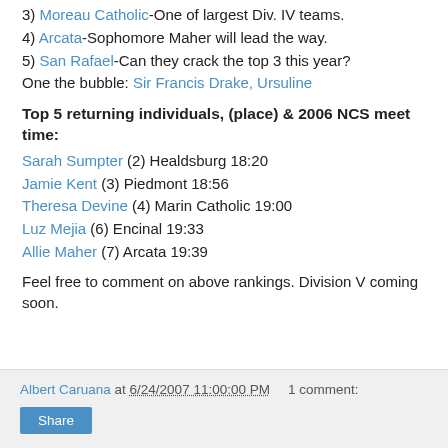3) Moreau Catholic-One of largest Div. IV teams.
4) Arcata-Sophomore Maher will lead the way.
5) San Rafael-Can they crack the top 3 this year?
One the bubble: Sir Francis Drake, Ursuline
Top 5 returning individuals, (place) & 2006 NCS meet time:
Sarah Sumpter (2) Healdsburg 18:20
Jamie Kent (3) Piedmont 18:56
Theresa Devine (4) Marin Catholic 19:00
Luz Mejia (6) Encinal 19:33
Allie Maher (7) Arcata 19:39
Feel free to comment on above rankings. Division V coming soon.
Albert Caruana at 6/24/2007 11:00:00 PM   1 comment: